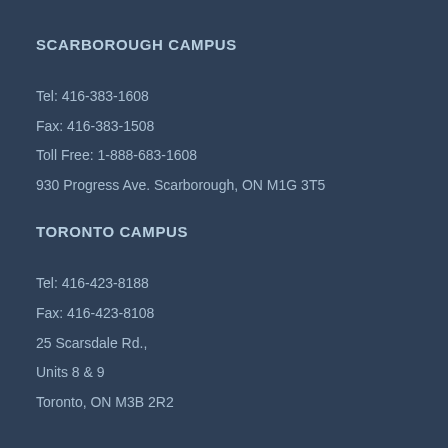SCARBOROUGH CAMPUS
Tel: 416-383-1608
Fax: 416-383-1508
Toll Free: 1-888-683-1608
930 Progress Ave. Scarborough, ON M1G 3T5
TORONTO CAMPUS
Tel: 416-423-8188
Fax: 416-423-8108
25 Scarsdale Rd.,
Units 8 & 9
Toronto, ON M3B 2R2